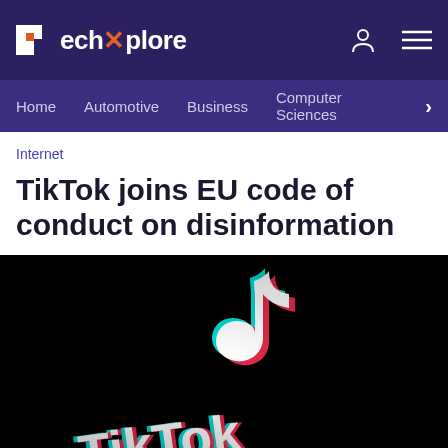TechXplore
Home  Automotive  Business  Computer Sciences
Internet
TikTok joins EU code of conduct on disinformation
[Figure (photo): TikTok logo on dark background, showing the recognizable musical note icon in cyan/red/white with 'TikTok' text partially visible at bottom]